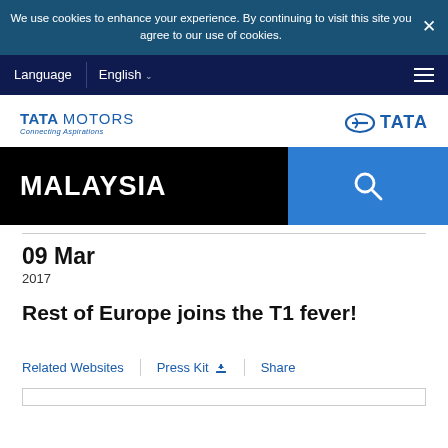We use cookies to enhance your experience. By continuing to visit this site you agree to our use of cookies.
Language   English   ☰
[Figure (logo): Tata Motors logo with 'Connecting Aspirations' tagline on the left, and Tata group logo on the right]
MALAYSIA
09 Mar
2017
Rest of Europe joins the T1 fever!
Related Websites   |   Press Kit  ⬇   |   Share